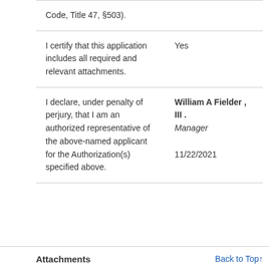| Code, Title 47, §503). |  |
| I certify that this application includes all required and relevant attachments. | Yes |
| I declare, under penalty of perjury, that I am an authorized representative of the above-named applicant for the Authorization(s) specified above. | William A Fielder , III .
Manager

11/22/2021 |
Attachments
Back to Top↑